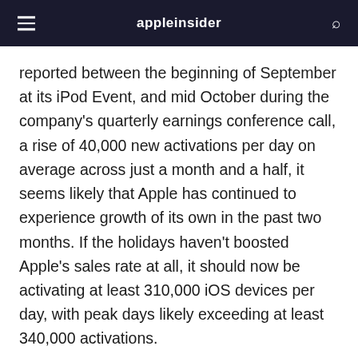appleinsider
reported between the beginning of September at its iPod Event, and mid October during the company's quarterly earnings conference call, a rise of 40,000 new activations per day on average across just a month and a half, it seems likely that Apple has continued to experience growth of its own in the past two months. If the holidays haven't boosted Apple's sales rate at all, it should now be activating at least 310,000 iOS devices per day, with peak days likely exceeding at least 340,000 activations.
Android may still catch up and surpass Apple's iOS activations, but as is clearly demonstrated,